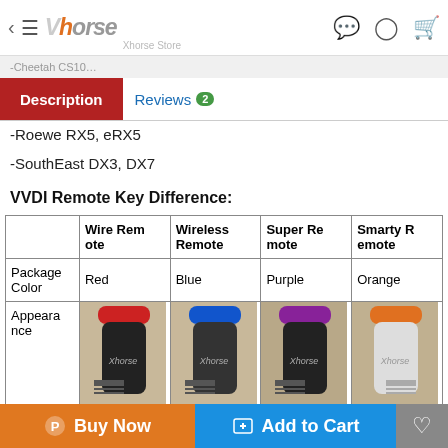Vhorse — Description | Reviews 2
-Roewe RX5, eRX5
-SouthEast DX3, DX7
VVDI Remote Key Difference:
|  | Wire Remote | Wireless Remote | Super Remote | Smarty Remote |
| --- | --- | --- | --- | --- |
| Package Color | Red | Blue | Purple | Orange |
| Appearance | [image: red-capped remote] | [image: blue-capped remote] | [image: purple-capped remote] | [image: orange-capped remote] |
Buy Now | Add to Cart | Wishlist